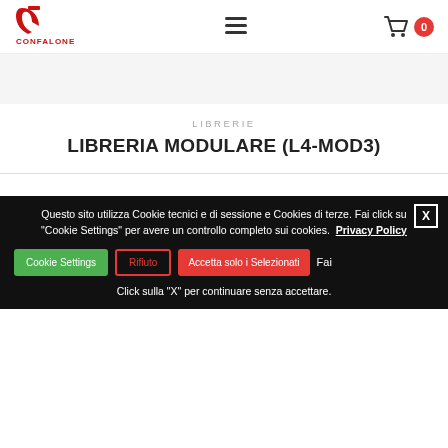[Figure (logo): Confalone logo with stylized red C mark and CONFALONE text in red]
[Figure (other): Hamburger menu icon (three horizontal lines)]
[Figure (other): Shopping cart icon with red badge showing 0]
LIBRERIE
LIBRERIA MODULARE (L4-MOD3)
Questo sito utilizza Cookie tecnici e di sessione e Cookies di terze. Fai click su "Cookie Settings" per avere un controllo completo sui cookies.  Privacy Policy
Cookie Settings  Rifiuto  Accetta solo i Selezionati  Fai
Click sulla "X" per continuare senza accettare.